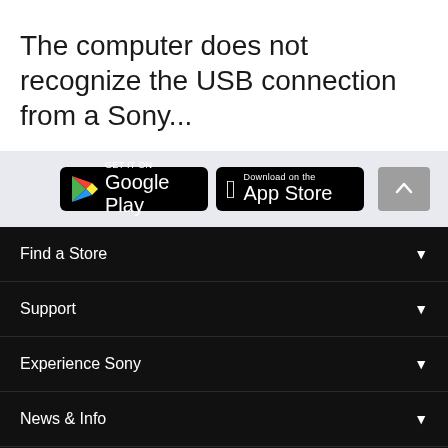The computer does not recognize the USB connection from a Sony...
[Figure (screenshot): Google Play and App Store download badges on a light gray bar, with a scroll-up button]
Find a Store
Support
Experience Sony
News & Info
Asia Pacific